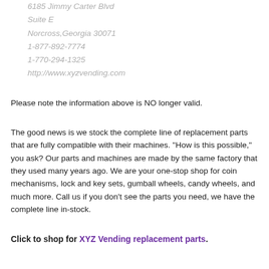XYZ Vending Machines, LLC
6185 Jimmy Carter Blvd
Suite E
Norcross,Georgia 30071
1-877-892-7774
1-770-294-1325
http://www.xyzvending.com
Please note the information above is NO longer valid.
The good news is we stock the complete line of replacement parts that are fully compatible with their machines. "How is this possible," you ask? Our parts and machines are made by the same factory that they used many years ago. We are your one-stop shop for coin mechanisms, lock and key sets, gumball wheels, candy wheels, and much more. Call us if you don't see the parts you need, we have the complete line in-stock.
Click to shop for XYZ Vending replacement parts.